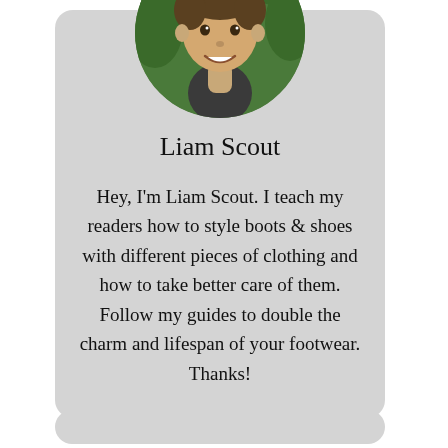[Figure (photo): Circular profile photo of a young man smiling, with green foliage background, wearing a dark shirt.]
Liam Scout
Hey, I'm Liam Scout. I teach my readers how to style boots & shoes with different pieces of clothing and how to take better care of them. Follow my guides to double the charm and lifespan of your footwear. Thanks!